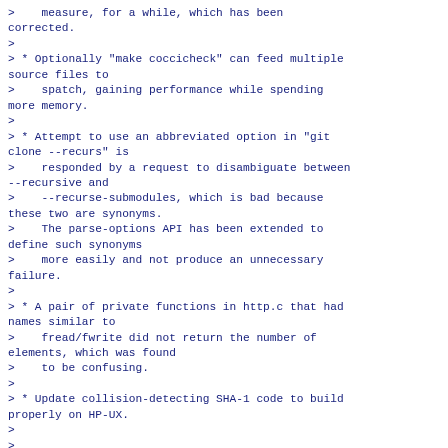>    measure, for a while, which has been corrected.
>
> * Optionally "make coccicheck" can feed multiple source files to
>    spatch, gaining performance while spending more memory.
>
> * Attempt to use an abbreviated option in "git clone --recurs" is
>    responded by a request to disambiguate between --recursive and
>    --recurse-submodules, which is bad because these two are synonyms.
>    The parse-options API has been extended to define such synonyms
>    more easily and not produce an unnecessary failure.
>
> * A pair of private functions in http.c that had names similar to
>    fread/fwrite did not return the number of elements, which was found
>    to be confusing.
>
> * Update collision-detecting SHA-1 code to build properly on HP-UX.
>
>
>Fixes since v2.21